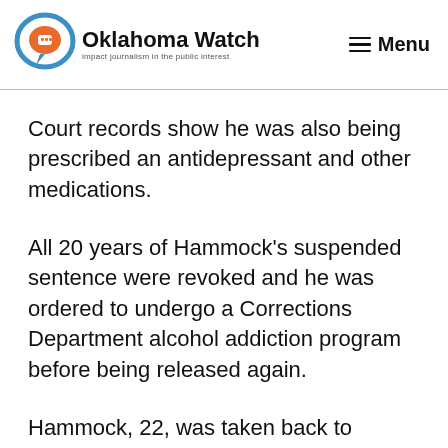Oklahoma Watch — Impact journalism in the public interest | Menu
Court records show he was also being prescribed an antidepressant and other medications.
All 20 years of Hammock's suspended sentence were revoked and he was ordered to undergo a Corrections Department alcohol addiction program before being released again.
Hammock, 22, was taken back to prison.